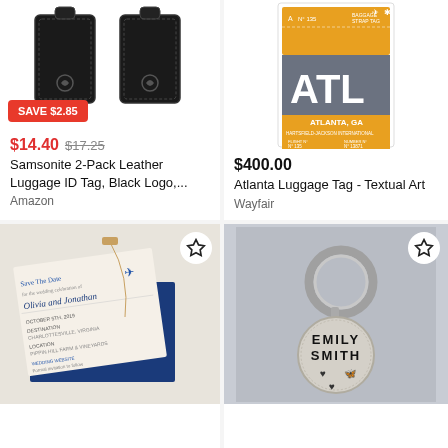[Figure (photo): Two black Samsonite leather luggage ID tags with a red SAVE $2.85 badge]
$14.40  $17.25
Samsonite 2-Pack Leather Luggage ID Tag, Black Logo,...
Amazon
[Figure (photo): Atlanta Luggage Tag art print showing ATL airport code on a vintage-style tag with orange and gray design]
$400.00
Atlanta Luggage Tag - Textual Art
Wayfair
[Figure (photo): Save the Date wedding invitation for Olivia and Jonathan on blue and cream stationery with a luggage tag motif]
[Figure (photo): Round metal keychain stamped with EMILY SMITH and heart and butterfly designs]